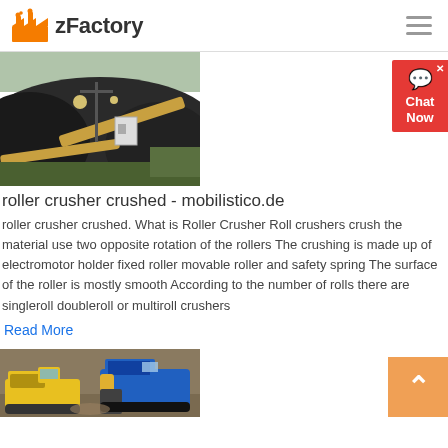zFactory
[Figure (photo): Aerial view of large coal pile with conveyor belt infrastructure and utility poles]
roller crusher crushed - mobilistico.de
roller crusher crushed. What is Roller Crusher Roll crushers crush the material use two opposite rotation of the rollers The crushing is made up of electromotor holder fixed roller movable roller and safety spring The surface of the roller is mostly smooth According to the number of rolls there are singleroll doubleroll or multiroll crushers
Read More
[Figure (photo): Heavy construction/mining machinery including yellow bulldozer and blue tracked crawler crusher on a job site]